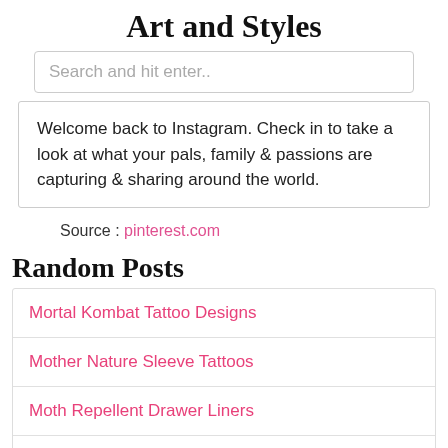Art and Styles
Search and hit enter..
Welcome back to Instagram. Check in to take a look at what your pals, family & passions are capturing & sharing around the world.
Source : pinterest.com
Random Posts
Mortal Kombat Tattoo Designs
Mother Nature Sleeve Tattoos
Moth Repellent Drawer Liners
Movies Like War Room
Mouse Standing Up Drawing